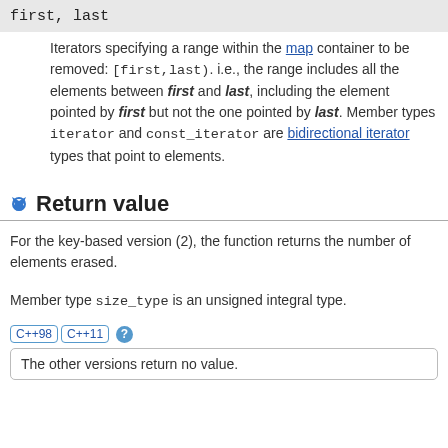first, last
Iterators specifying a range within the map container to be removed: [first,last). i.e., the range includes all the elements between first and last, including the element pointed by first but not the one pointed by last. Member types iterator and const_iterator are bidirectional iterator types that point to elements.
Return value
For the key-based version (2), the function returns the number of elements erased.
Member type size_type is an unsigned integral type.
C++98  C++11  ?  The other versions return no value.